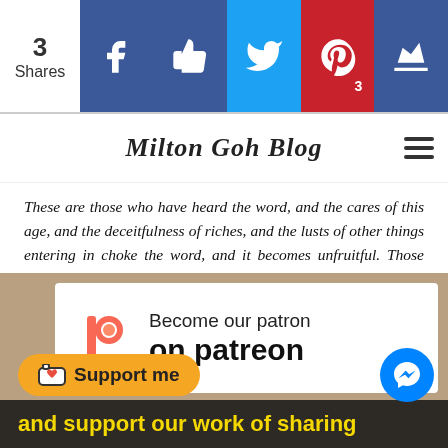[Figure (screenshot): Social sharing bar with share count (3 Shares) and icons for Facebook, Like, Twitter, Pinterest (3), and Crown/Bloglovin]
Milton Goh Blog
These are those who have heard the word, and the cares of this age, and the deceitfulness of riches, and the lusts of other things entering in choke the word, and it becomes unfruitful. Those which were sown on the good ground are those who hear the word, and accept it, and bear fruit, some thirty times, some sixty times, and some one hundred times."" (Mark 4:13-20 WEB)
[Figure (infographic): Patreon promotional banner with logo and text 'Become our patron on patreon' and bottom text 'and support our work of sharing'. Includes Support me button with ko-fi cup icon and Messenger chat button.]